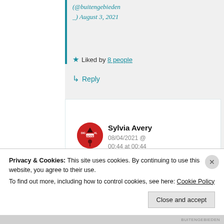(@buitengebieden _) August 3, 2021
★ Liked by 8 people
↳ Reply
Sylvia Avery
08/04/2021 @ 00:44 at 00:44
Privacy & Cookies: This site uses cookies. By continuing to use this website, you agree to their use.
To find out more, including how to control cookies, see here: Cookie Policy
Close and accept